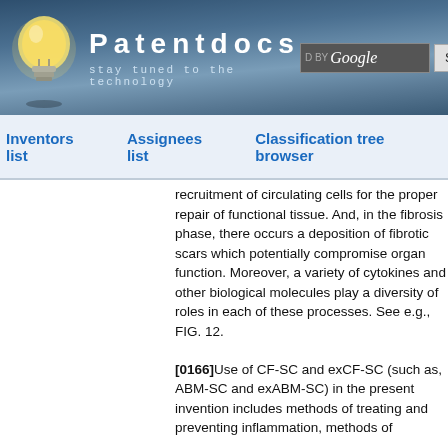Patentdocs — stay tuned to the technology
Inventors list | Assignees list | Classification tree browser
recruitment of circulating cells for the proper repair of functional tissue. And, in the fibrosis phase, there occurs a deposition of fibrotic scars which potentially compromise organ function. Moreover, a variety of cytokines and other biological molecules play a diversity of roles in each of these processes. See e.g., FIG. 12.
[0166] Use of CF-SC and exCF-SC (such as, ABM-SC and exABM-SC) in the present invention includes methods of treating and preventing inflammation, methods of